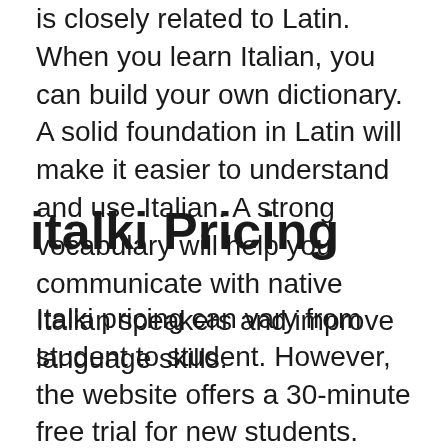is closely related to Latin. When you learn Italian, you can build your own dictionary. A solid foundation in Latin will make it easier to understand and use Italian. A strong vocabulary will help you communicate with native Italian speakers and improve language skills.
italki Pricing
Italki pricing can vary from student to student. However, the website offers a 30-minute free trial for new students. Once you are a member of Italki, you can choose between a community tutor or a professional teacher. You can choose the teacher that suits your needs and budget. Italki can help you learn new languages online or in an